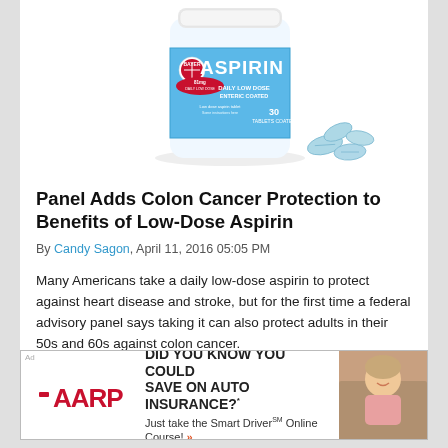[Figure (photo): Bayer Aspirin bottle with blue low-dose aspirin tablets spilled out beside it, on white background.]
Panel Adds Colon Cancer Protection to Benefits of Low-Dose Aspirin
By Candy Sagon, April 11, 2016 05:05 PM
Many Americans take a daily low-dose aspirin to protect against heart disease and stroke, but for the first time a federal advisory panel says taking it can also protect adults in their 50s and 60s against colon cancer.
[Figure (photo): AARP advertisement: DID YOU KNOW YOU COULD SAVE ON AUTO INSURANCE? Just take the Smart Driver Online Course! Shows AARP logo in red and a smiling woman in a car.]